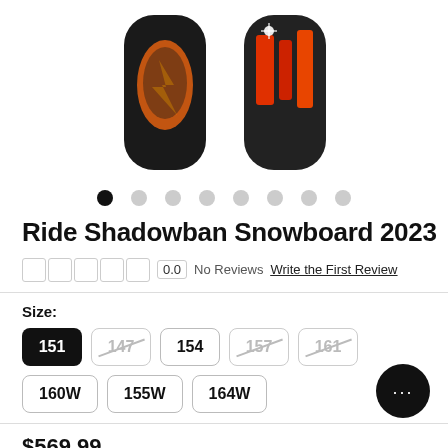[Figure (photo): Two snowboards displayed side by side — both dark/black with orange graphic designs. Left board has an orange lightning/tornado graphic, right board has an orange and red striped angular graphic with a star/sparkle.]
Ride Shadowban Snowboard 2023
0.0  No Reviews  Write the First Review
Size:
151  147  154  157  161  160W  155W  164W
$569.99